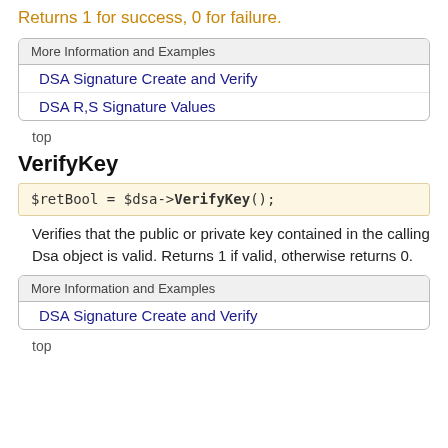Returns 1 for success, 0 for failure.
| More Information and Examples |
| --- |
| DSA Signature Create and Verify |
| DSA R,S Signature Values |
top
VerifyKey
Verifies that the public or private key contained in the calling Dsa object is valid. Returns 1 if valid, otherwise returns 0.
| More Information and Examples |
| --- |
| DSA Signature Create and Verify |
top